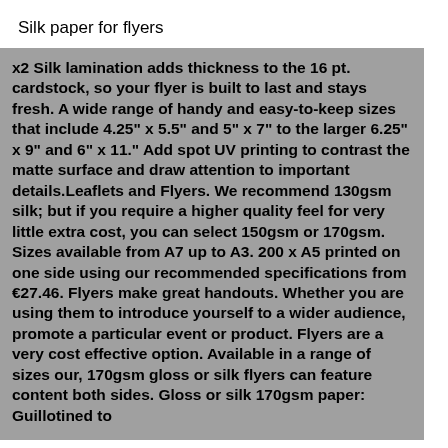Silk paper for flyers
x2 Silk lamination adds thickness to the 16 pt. cardstock, so your flyer is built to last and stays fresh. A wide range of handy and easy-to-keep sizes that include 4.25" x 5.5" and 5" x 7" to the larger 6.25" x 9" and 6" x 11." Add spot UV printing to contrast the matte surface and draw attention to important details.Leaflets and Flyers. We recommend 130gsm silk; but if you require a higher quality feel for very little extra cost, you can select 150gsm or 170gsm. Sizes available from A7 up to A3. 200 x A5 printed on one side using our recommended specifications from €27.46. Flyers make great handouts. Whether you are using them to introduce yourself to a wider audience, promote a particular event or product. Flyers are a very cost effective option. Available in a range of sizes our, 170gsm gloss or silk flyers can feature content both sides. Gloss or silk 170gsm paper: Guillotined to